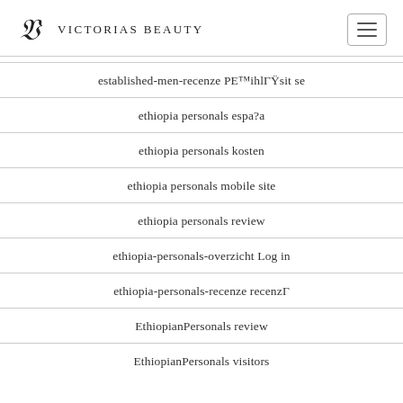Victorias Beauty
established-men-recenze PE™ihlГŸsit se
ethiopia personals espa?a
ethiopia personals kosten
ethiopia personals mobile site
ethiopia personals review
ethiopia-personals-overzicht Log in
ethiopia-personals-recenze recenzГ
EthiopianPersonals review
EthiopianPersonals visitors